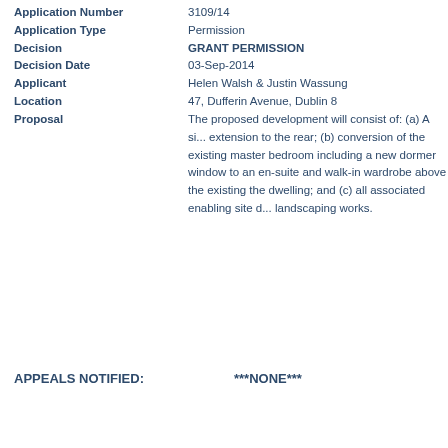| Field | Value |
| --- | --- |
| Application Number | 3109/14 |
| Application Type | Permission |
| Decision | GRANT PERMISSION |
| Decision Date | 03-Sep-2014 |
| Applicant | Helen Walsh & Justin Wassung |
| Location | 47, Dufferin Avenue, Dublin 8 |
| Proposal | The proposed development will consist of: (a) A si... extension to the rear; (b) conversion of the existing master bedroom including a new dormer window to an en-suite and walk-in wardrobe above the existing the dwelling; and (c) all associated enabling site d... landscaping works. |
APPEALS NOTIFIED:    ***NONE***